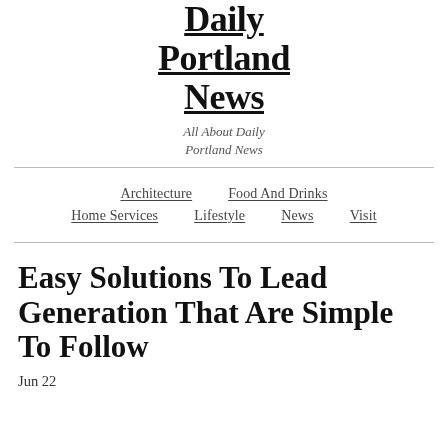Daily Portland News
All About Daily Portland News
Architecture   Food And Drinks   Home Services   Lifestyle   News   Visit
Easy Solutions To Lead Generation That Are Simple To Follow
Jun 22